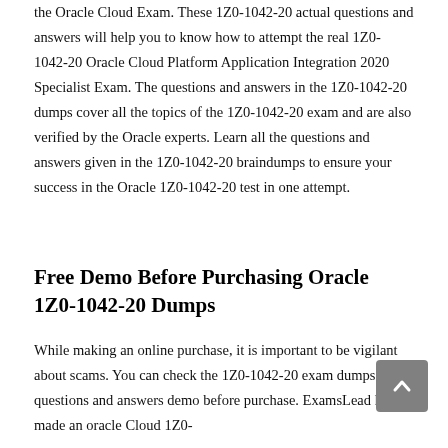the Oracle Cloud Exam. These 1Z0-1042-20 actual questions and answers will help you to know how to attempt the real 1Z0-1042-20 Oracle Cloud Platform Application Integration 2020 Specialist Exam. The questions and answers in the 1Z0-1042-20 dumps cover all the topics of the 1Z0-1042-20 exam and are also verified by the Oracle experts. Learn all the questions and answers given in the 1Z0-1042-20 braindumps to ensure your success in the Oracle 1Z0-1042-20 test in one attempt.
Free Demo Before Purchasing Oracle 1Z0-1042-20 Dumps
While making an online purchase, it is important to be vigilant about scams. You can check the 1Z0-1042-20 exam dumps pdf questions and answers demo before purchase. ExamsLead has made an oracle Cloud 1Z0-